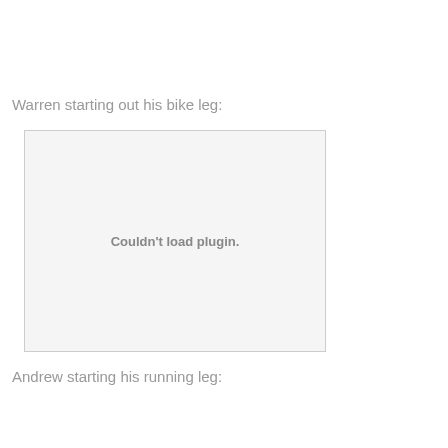Warren starting out his bike leg:
[Figure (other): Plugin could not load — placeholder showing 'Couldn't load plugin.']
Andrew starting his running leg: